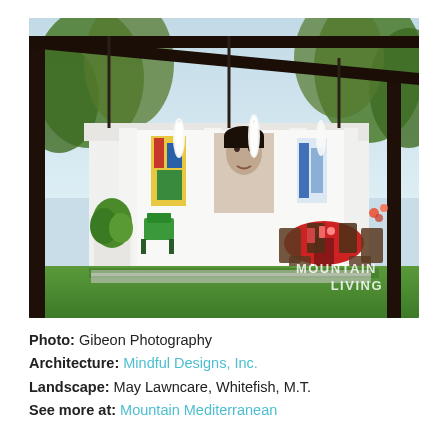[Figure (photo): Outdoor covered pavilion of a modern white home with dark metal frame pergola in foreground. Interior shows large portrait artwork on white walls, pendant lights, green chairs, and a red dining table with chairs on green lawn. Trees visible in background. Mountain Living watermark in lower right.]
Photo: Gibeon Photography
Architecture: Mindful Designs, Inc.
Landscape: May Lawncare, Whitefish, M.T.
See more at: Mountain Mediterranean